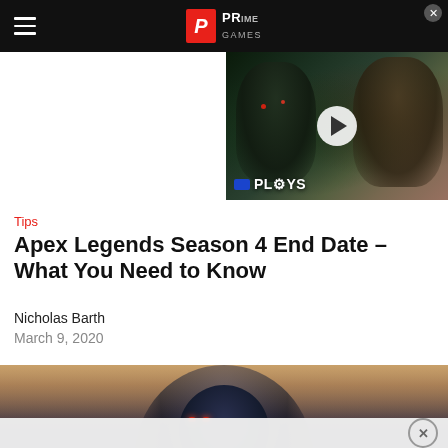Prime Games navigation bar with hamburger menu and logo
[Figure (screenshot): Video thumbnail showing Predator characters with a play button overlay and PLAYS label]
Tips
Apex Legends Season 4 End Date – What You Need to Know
Nicholas Barth
March 9, 2020
[Figure (screenshot): Apex Legends character Revenant hero image]
[Figure (screenshot): Advertisement overlay at bottom of page with close button]